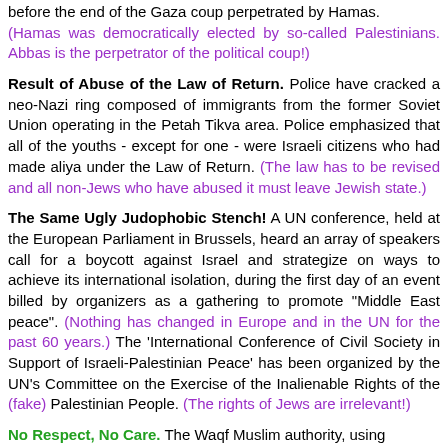before the end of the Gaza coup perpetrated by Hamas. (Hamas was democratically elected by so-called Palestinians. Abbas is the perpetrator of the political coup!)
Result of Abuse of the Law of Return. Police have cracked a neo-Nazi ring composed of immigrants from the former Soviet Union operating in the Petah Tikva area. Police emphasized that all of the youths - except for one - were Israeli citizens who had made aliya under the Law of Return. (The law has to be revised and all non-Jews who have abused it must leave Jewish state.)
The Same Ugly Judophobic Stench! A UN conference, held at the European Parliament in Brussels, heard an array of speakers call for a boycott against Israel and strategize on ways to achieve its international isolation, during the first day of an event billed by organizers as a gathering to promote "Middle East peace". (Nothing has changed in Europe and in the UN for the past 60 years.) The 'International Conference of Civil Society in Support of Israeli-Palestinian Peace' has been organized by the UN's Committee on the Exercise of the Inalienable Rights of the (fake) Palestinian People. (The rights of Jews are irrelevant!)
No Respect, No Care. The Waqf Muslim authority, using